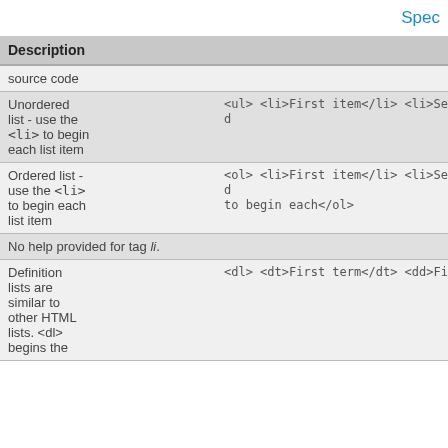Spec
| Description |  |
| --- | --- |
| source code |  |
| Unordered list - use the <li> to begin each list item | <ul> <li>First item</li> <li>Second ... |
| Ordered list - use the <li> to begin each list item | <ol> <li>First item</li> <li>Second ... |
| No help provided for tag li. |  |
| Definition lists are similar to other HTML lists. <dl> begins the | <dl> <dt>First term</dt> <dd>First ... |